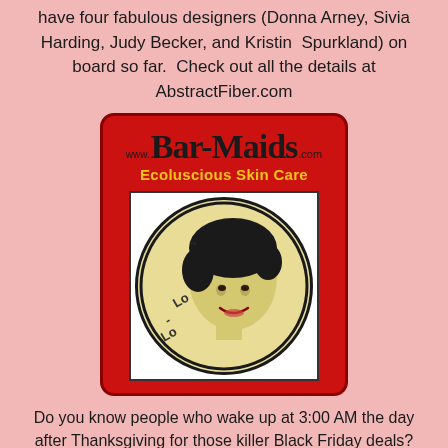have four fabulous designers (Donna Arney, Sivia Harding, Judy Becker, and Kristin Spurkland) on board so far.  Check out all the details at AbstractFiber.com
[Figure (logo): Bar-Maids.com Ecoluscious Skin Care advertisement with red rounded-rectangle background, large bold 'Bar-Maids' text with www. prefix and .com suffix, yellow 'Ecoluscious Skin Care' tagline, and a circular logo featuring a vintage-style woman's face on a cream/yellow background with 'Lo - Lo' text.]
Do you know people who wake up at 3:00 AM the day after Thanksgiving for those killer Black Friday deals? How do they do it! I'm recovering from all the cleaning and cooking